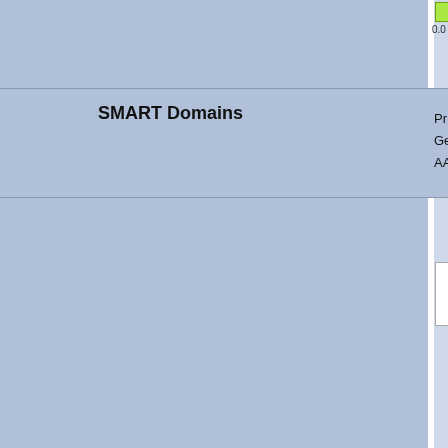[Figure (screenshot): Partial view of a bioinformatics database page showing SMART Domains section. The page has a blue-gray background with a vertical white divider column. Top right shows a green colored box with score '0.0'. Below is a header row with 'SMART Domains' label in bold and partially visible columns labeled 'Pr...', 'Ge...', 'AA...' on the right. A white rectangle is visible. Further down is a table with column header 'D...' and multiple rows with blue hyperlinks starting with 'S', 'E', 'E', 'E', 'E', 'E', 'E'.]